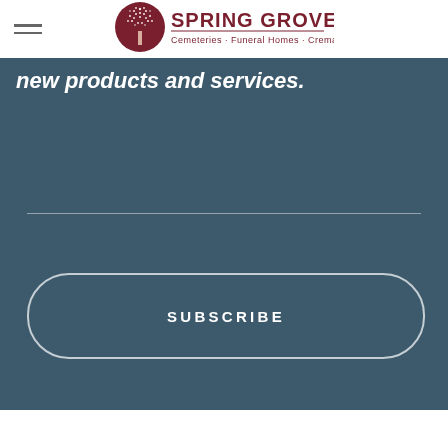[Figure (logo): Spring Grove Cemeteries · Funeral Homes · Cremation logo with tree icon in dark red/maroon circle]
new products and services.
[Figure (other): SUBSCRIBE button with rounded rectangle border on teal/slate background]